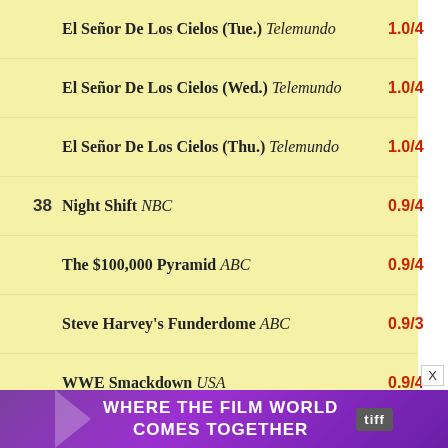El Señor De Los Cielos (Tue.) Telemundo 1.0/4
El Señor De Los Cielos (Wed.) Telemundo 1.0/4
El Señor De Los Cielos (Thu.) Telemundo 1.0/4
38 Night Shift NBC 0.9/4
The $100,000 Pyramid ABC 0.9/4
Steve Harvey's Funderdome ABC 0.9/3
WWE Smackdown USA 0.9/4
El Señor De Los Cielos (Fri.) Telemundo 0.9/4
Have and Have Nots OWN 0.9/4
Claws TNT
[Figure (infographic): Purple advertisement banner: WHERE THE FILM WORLD COMES TOGETHER with tiff logo]